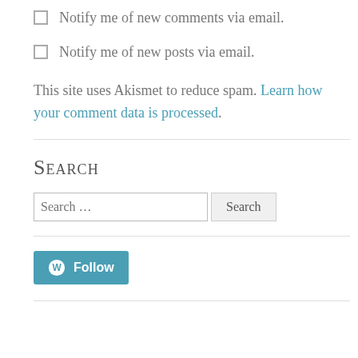Notify me of new comments via email.
Notify me of new posts via email.
This site uses Akismet to reduce spam. Learn how your comment data is processed.
Search
Search …
[Figure (other): WordPress Follow button]